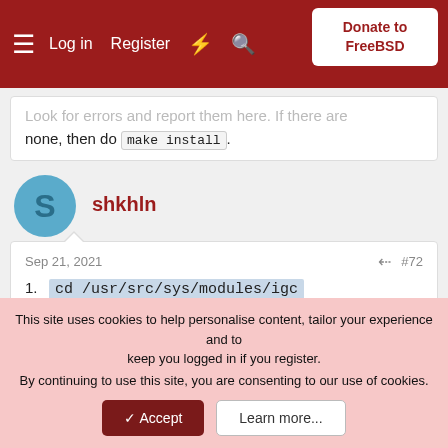Log in  Register  Donate to FreeBSD
Look for errors and report them here. If there are none, then do make install.
shkhln
Sep 21, 2021  #72
1. cd /usr/src/sys/modules/igc
2. make clean
3.
setenv CFLAGS "-DVIMAGE -DDEV_RANDOM"
2. make
This site uses cookies to help personalise content, tailor your experience and to keep you logged in if you register.
By continuing to use this site, you are consenting to our use of cookies.